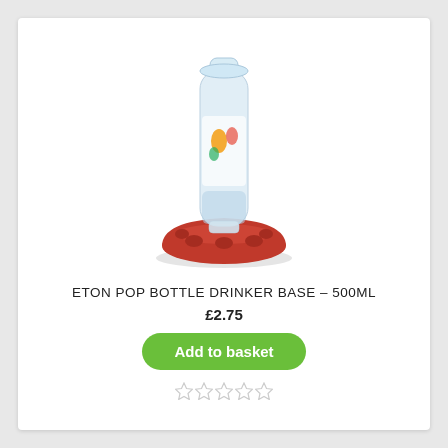[Figure (photo): Product photo of Eton Pop Bottle Drinker Base 500ml – a clear plastic bottle inverted on a wide red plastic base/feeder dish with multiple feeding ports]
ETON POP BOTTLE DRINKER BASE – 500ML
£2.75
Add to basket